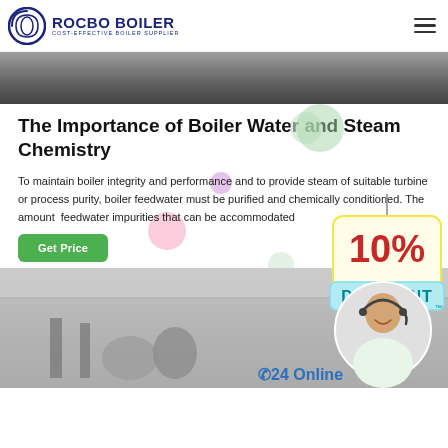ROCBO BOILER — COST-EFFECTIVE BOILER SUPPLIER
[Figure (photo): Top banner photo of a boiler/industrial equipment, partially visible, gray-toned]
The Importance of Boiler Water and Steam Chemistry
To maintain boiler integrity and performance and to provide steam of suitable turbine or process purity, boiler feedwater must be purified and chemically conditioned. The amount feedwater impurities that can be accommodated
[Figure (illustration): 10% Discount badge/sticker with decorative colored bubbles overlay]
[Figure (photo): Customer service representative with headset (24 Online chat widget) overlaid on bottom boiler room photo]
[Figure (photo): Bottom banner photo of industrial boiler room interior]